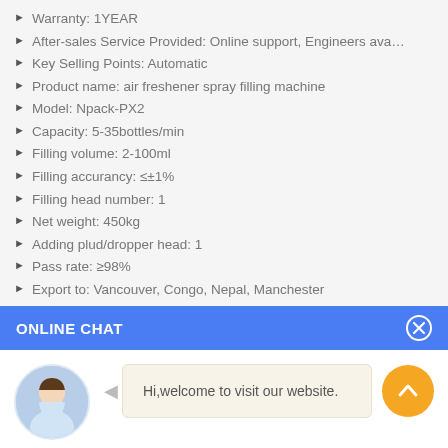Warranty: 1 YEAR
After-sales Service Provided: Online support, Engineers ava…
Key Selling Points: Automatic
Product name: air freshener spray filling machine
Model: Npack-PX2
Capacity: 5-35bottles/min
Filling volume: 2-100ml
Filling accurancy: ≤±1%
Filling head number: 1
Net weight: 450kg
Adding plud/dropper head: 1
Pass rate: ≥98%
Export to: Vancouver, Congo, Nepal, Manchester
ONLINE CHAT
Hi,welcome to visit our website.
Cilina